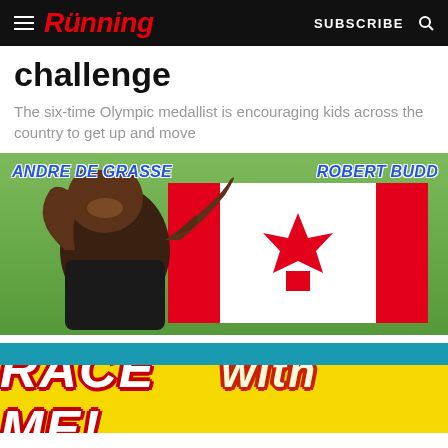Running — SUBSCRIBE
challenge
The six-time Olympic medallist is encouraging kids across the country to get up and move
[Figure (photo): Andre De Grasse celebrating with a Canadian flag, holding it above his head with both arms raised, smiling. He is wearing a black and red athletic top. Overlaid text reads 'ANDRE DE GRASSE' on the left and 'ROBERT BUDD' on the right in bold blue italic text. At the bottom a yellow banner reads 'RACE WITH ME!' in large bold italic white text with red outline.]